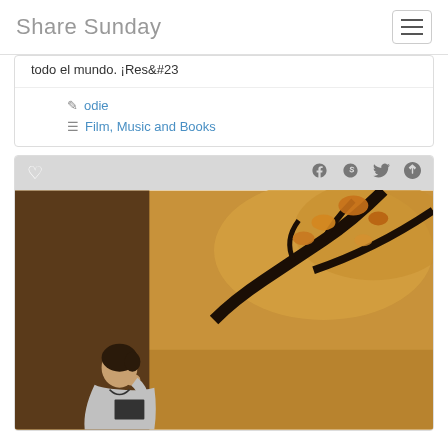Share Sunday
todo el mundo. ¡Res&#23
odie
Film, Music and Books
[Figure (photo): A woman leaning against a large tree trunk reading, with autumn foliage and dry grass in the background]